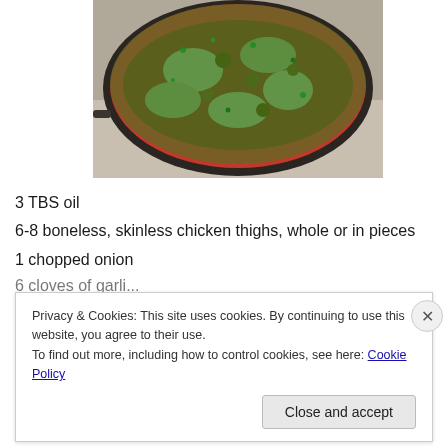[Figure (photo): A cast iron skillet filled with chicken thighs in tomato sauce topped with chopped parsley and olives, photographed from above on a marble surface.]
3 TBS oil
6-8 boneless, skinless chicken thighs, whole or in pieces
1 chopped onion
Privacy & Cookies: This site uses cookies. By continuing to use this website, you agree to their use.
To find out more, including how to control cookies, see here: Cookie Policy
Close and accept